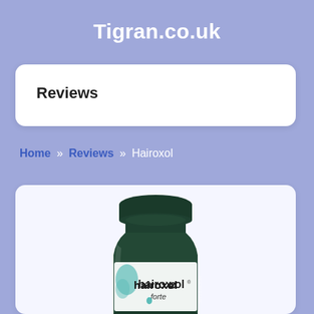Tigran.co.uk
Reviews
Home » Reviews » Hairoxol
[Figure (photo): A dark green glass bottle of Hairoxol forte supplement with a white label showing the brand name 'hairoxol forte' in dark text, photographed from slightly above showing the cap and upper portion of the bottle.]